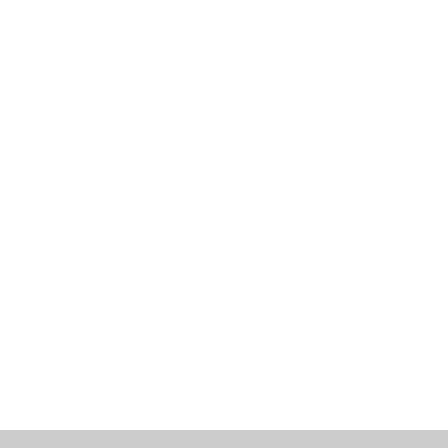6Y9850 □□ 1S41...
1S4282 □□ 1S43...
4H1723 □□□□□ 1S...
9M5024 □□ 1S5...
1S5560 □ 4N56...
316470784@qq.com
□□wechat:135879865...
Whatsapp:+86135879...
www.bucketteeth.cn
www.buckettooth.cn
http://www.packingm...
< □□□□□ □
> □□□□□ □